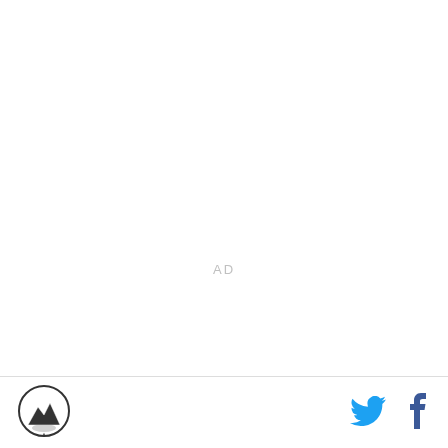AD
If you like what you read be lazy and Subscribe to The Mountain West Conference Connection by Email or in your Feeder or follow us on Twitter.
[Figure (logo): Mountain West Conference Connection circular logo with mountain imagery]
[Figure (other): Twitter bird icon in cyan blue]
[Figure (other): Facebook f icon in dark blue]